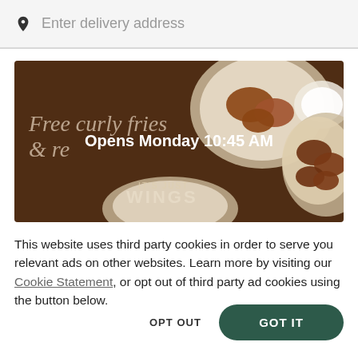Enter delivery address
[Figure (photo): Restaurant promotional banner for 'It's Just Wings' showing chicken wings on plates with dipping sauce on a brown/orange background. Text overlay reads 'Free curly fries & re...' and 'IT'S JUST WINGS'. A modal overlay in the center reads 'Opens Monday 10:45 AM'.]
This website uses third party cookies in order to serve you relevant ads on other websites. Learn more by visiting our Cookie Statement, or opt out of third party ad cookies using the button below.
OPT OUT
GOT IT